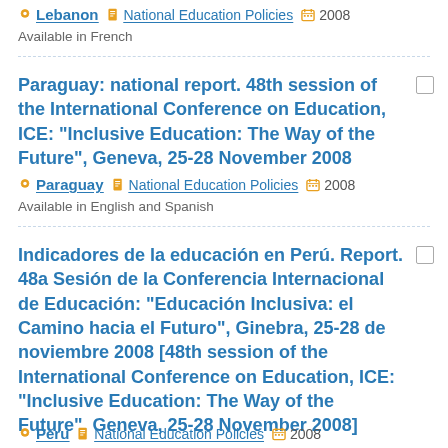Lebanon | National Education Policies | 2008
Available in French
Paraguay: national report. 48th session of the International Conference on Education, ICE: "Inclusive Education: The Way of the Future", Geneva, 25-28 November 2008
Paraguay | National Education Policies | 2008
Available in English and Spanish
Indicadores de la educación en Perú. Report. 48a Sesión de la Conferencia Internacional de Educación: "Educación Inclusiva: el Camino hacia el Futuro", Ginebra, 25-28 de noviembre 2008 [48th session of the International Conference on Education, ICE: "Inclusive Education: The Way of the Future", Geneva, 25-28 November 2008]
Peru | National Education Policies | 2008